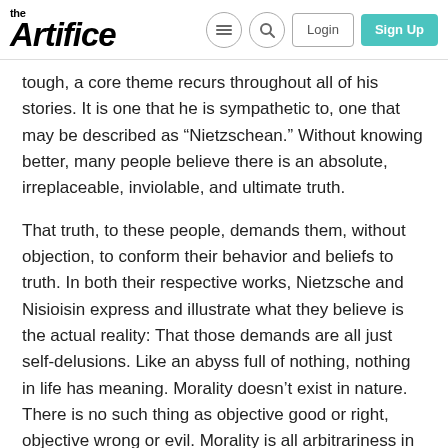the Artifice | Login | Sign Up
tough, a core theme recurs throughout all of his stories. It is one that he is sympathetic to, one that may be described as “Nietzschean.” Without knowing better, many people believe there is an absolute, irreplaceable, inviolable, and ultimate truth.
That truth, to these people, demands them, without objection, to conform their behavior and beliefs to truth. In both their respective works, Nietzsche and Nisioisin express and illustrate what they believe is the actual reality: That those demands are all just self-delusions. Like an abyss full of nothing, nothing in life has meaning. Morality doesn’t exist in nature. There is no such thing as objective good or right, objective wrong or evil. Morality is all arbitrariness in self-denial. It is all stuff that